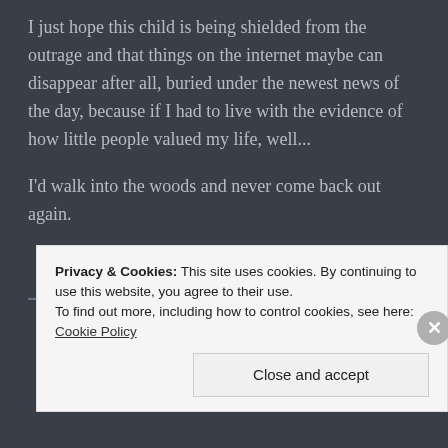I just hope this child is being shielded from the outrage and that things on the internet maybe can disappear after all, buried under the newest news of the day, because if I had to live with the evidence of how little people valued my life, well...
I'd walk into the woods and never come back out again.
Privacy & Cookies: This site uses cookies. By continuing to use this website, you agree to their use. To find out more, including how to control cookies, see here: Cookie Policy